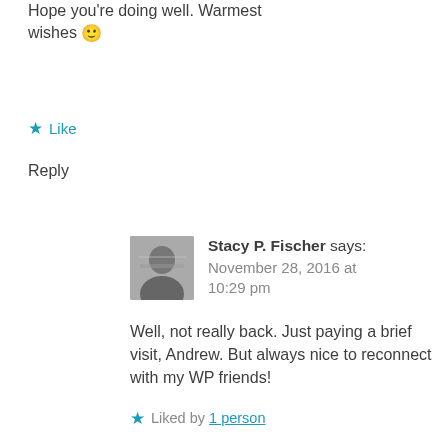Hope you're doing well. Warmest wishes 🙂
★ Like
Reply
Stacy P. Fischer says: November 28, 2016 at 10:29 pm
Well, not really back. Just paying a brief visit, Andrew. But always nice to reconnect with my WP friends!
★ Liked by 1 person